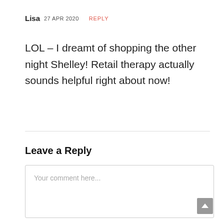Lisa 27 APR 2020  REPLY
LOL – I dreamt of shopping the other night Shelley! Retail therapy actually sounds helpful right about now!
Leave a Reply
Your comment here...